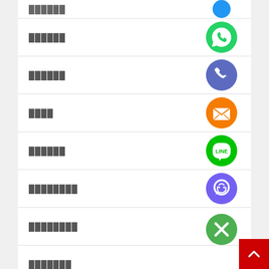██████
[Figure (illustration): WhatsApp green circle icon with white speech bubble and phone]
██████
[Figure (illustration): Blue circle with white phone handset icon]
████
[Figure (illustration): Orange circle with white envelope/mail icon]
██████
[Figure (illustration): Green circle with white LINE speech bubble and LINE text]
████████
[Figure (illustration): Purple circle with white Viber phone icon]
████████
[Figure (illustration): Green circle with white X icon]
████████
███████